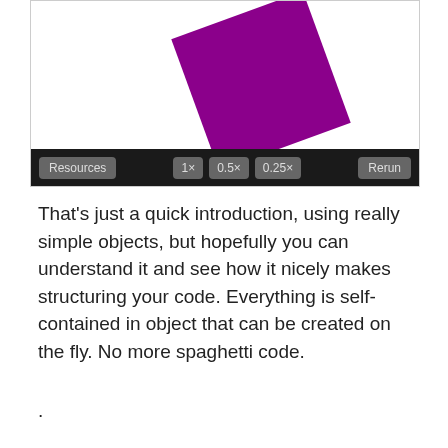[Figure (screenshot): A canvas animation viewer showing a purple rectangle rotated at an angle, partially cut off at the bottom. Below the canvas is a dark toolbar with buttons: Resources, 1x, 0.5x, 0.25x, and Rerun.]
That's just a quick introduction, using really simple objects, but hopefully you can understand it and see how it nicely makes structuring your code. Everything is self-contained in object that can be created on the fly. No more spaghetti code.
.